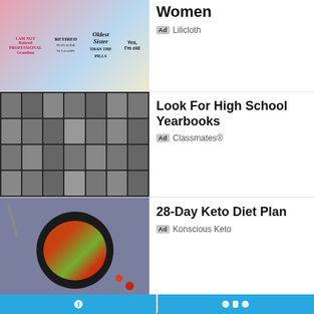[Figure (photo): Three women wearing novelty printed t-shirts (retired grandma, retired, oldest sister themes) in pink and blue colors]
Women
Ad  Lilicloth
[Figure (photo): Black and white high school yearbook photo page showing a grid of student portrait photos]
Look For High School Yearbooks
Ad  Classmates®
[Figure (photo): Top-down view of a plate with grilled chicken, salad greens, and cherry tomatoes on a dark background]
28-Day Keto Diet Plan
Ad  Konscious Keto
[Figure (photo): Portrait of a young woman against a light blue/grey background]
Ever Heard of Jesus?
Ad  GodLife